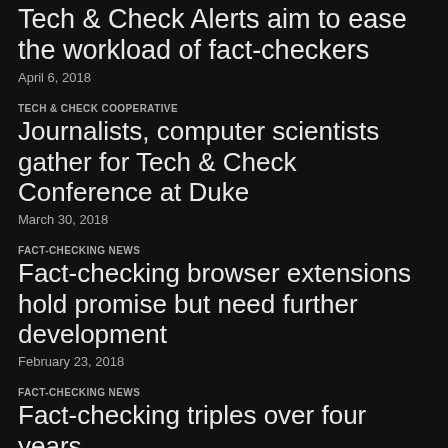Tech & Check Alerts aim to ease the workload of fact-checkers
April 6, 2018
TECH & CHECK COOPERATIVE
Journalists, computer scientists gather for Tech & Check Conference at Duke
March 30, 2018
FACT-CHECKING NEWS
Fact-checking browser extensions hold promise but need further development
February 23, 2018
FACT-CHECKING NEWS
Fact-checking triples over four years
February 22, 2018
TECH & CHECK COOPERATIVE
Pop-up fact-checking app Truth Goggles